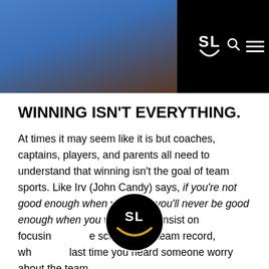[Figure (photo): Header bar with a photo of a person wearing blue on the left and a black navigation bar on the right with SL logo, search icon, and hamburger menu]
WINNING ISN'T EVERYTHING.
At times it may seem like it is but coaches, captains, players, and parents all need to understand that winning isn't the goal of team sports. Like Irv (John Candy) says, if you're not good enough when you lose, you'll never be good enough when you win. But we insist on focusing on the score or the team record, when was the last time you heard someone worry about the team
[Figure (logo): SL smiley face logo watermark centered at bottom of page]